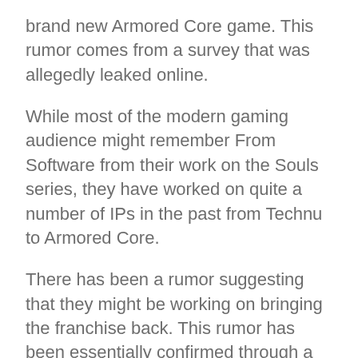brand new Armored Core game. This rumor comes from a survey that was allegedly leaked online.
While most of the modern gaming audience might remember From Software from their work on the Souls series, they have worked on quite a number of IPs in the past from Technu to Armored Core.
There has been a rumor suggesting that they might be working on bringing the franchise back. This rumor has been essentially confirmed through a recent survey that was shared to Resetera forums by a user. This includes details on the game and a set of screenshots.